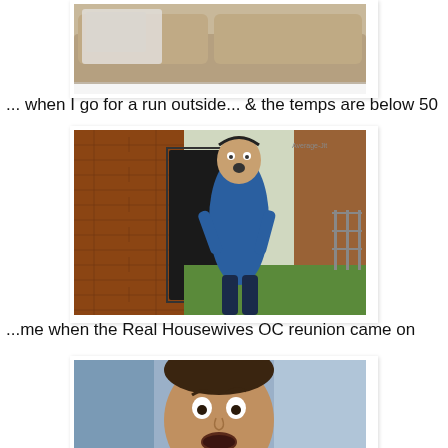[Figure (photo): Partial image of a couch/sofa with a blanket, cropped at top]
... when I go for a run outside... & the temps are below 50
[Figure (photo): Man in blue shirt stepping out of a brick building, appearing shocked or out of breath, with 'Average-Jit' watermark]
...me when the Real Housewives OC reunion came on
[Figure (photo): Partial image of a man making a surprised/shocked face, cropped at bottom]